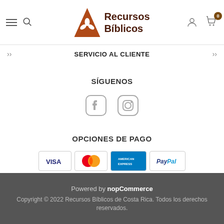Recursos Bíblicos
SERVICIO AL CLIENTE
SÍGUENOS
[Figure (illustration): Facebook and Instagram social media icons]
OPCIONES DE PAGO
[Figure (illustration): Payment method icons: Visa, MasterCard, American Express, PayPal]
Powered by nopCommerce
Copyright © 2022 Recursos Bíblicos de Costa Rica. Todos los derechos reservados.